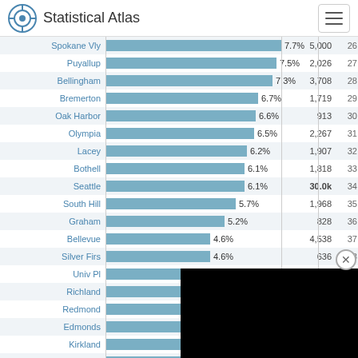Statistical Atlas
[Figure (bar-chart): Cities ranked by percentage]